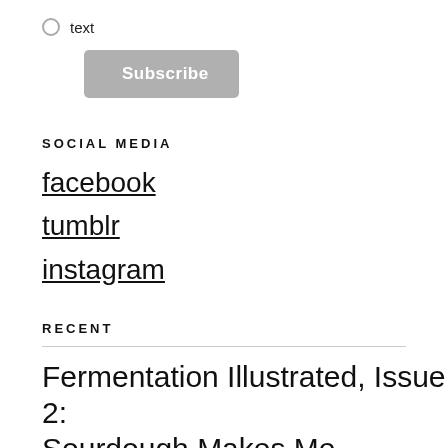text
Subscribe
SOCIAL MEDIA
facebook
tumblr
instagram
RECENT
Fermentation Illustrated, Issue 2: Sourdough Makes Me Emotional